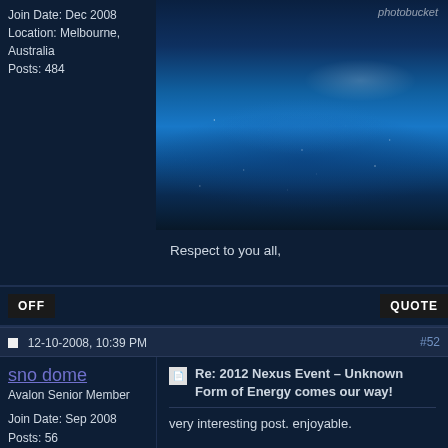Join Date: Dec 2008
Location: Melbourne, Australia
Posts: 484
[Figure (photo): Photo of a dolphin jumping over water at night, with sparkles on the water surface. A photobucket watermark is visible in the top right.]
Respect to you all,

Astralwalker
OFF    QUOTE
12-10-2008, 10:39 PM    #52
sno dome
Avalon Senior Member
Join Date: Sep 2008
Posts: 56
Re: 2012 Nexus Event – Unknown Form of Energy comes our way!
very interesting post. enjoyable.

found some of this in the process of poring over the mountains of information.
250 acre 70 "string" cosmic antenna due